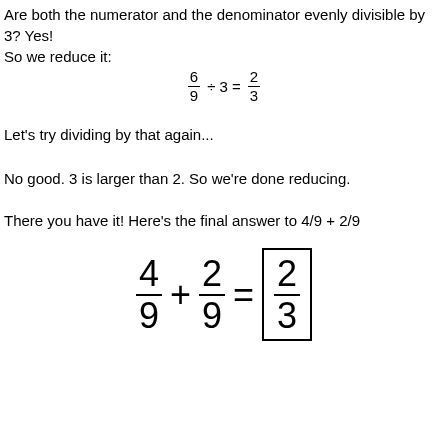Are both the numerator and the denominator evenly divisible by 3? Yes! So we reduce it:
Let's try dividing by that again...
No good. 3 is larger than 2. So we're done reducing.
There you have it! Here's the final answer to 4/9 + 2/9